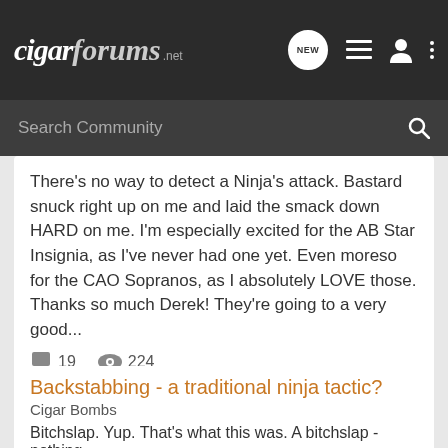cigarforums.net
Search Community
There's no way to detect a Ninja's attack. Bastard snuck right up on me and laid the smack down HARD on me. I'm especially excited for the AB Star Insignia, as I've never had one yet. Even moreso for the CAO Sopranos, as I absolutely LOVE those. Thanks so much Derek! They're going to a very good...
19  224
VersionX · Aug 4, 2011
enter
ninja
Backstabbing - a traditional ninja tactic?
Cigar Bombs
Bitchslap. Yup. That's what this was. A bitchslap - nothing